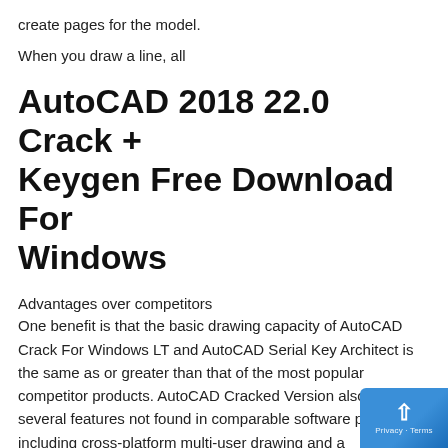create pages for the model.
When you draw a line, all
AutoCAD 2018 22.0 Crack + Keygen Free Download For Windows
Advantages over competitors
One benefit is that the basic drawing capacity of AutoCAD Crack For Windows LT and AutoCAD Serial Key Architect is the same as or greater than that of the most popular competitor products. AutoCAD Cracked Version also has several features not found in comparable software products, including cross-platform multi-user drawing and a comprehensive library of parametric modeling and a command